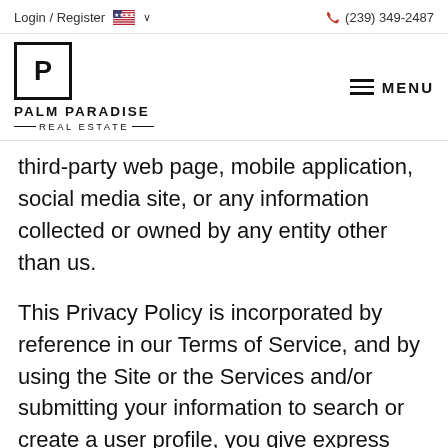Login / Register   🇺🇸 ∨   📞 (239) 349-2487
[Figure (logo): Palm Paradise Real Estate logo: a square box containing the letter P, with 'PALM PARADISE' in bold above 'REAL ESTATE' with decorative lines]
third-party web page, mobile application, social media site, or any information collected or owned by any entity other than us.
This Privacy Policy is incorporated by reference in our Terms of Service, and by using the Site or the Services and/or submitting your information to search or create a user profile, you give express consent to all of the terms contained herein, as well as those provided in our Terms of Service, and such use and actions constitute your electronic signature. You may withdraw this consent by using the opt-out procedures